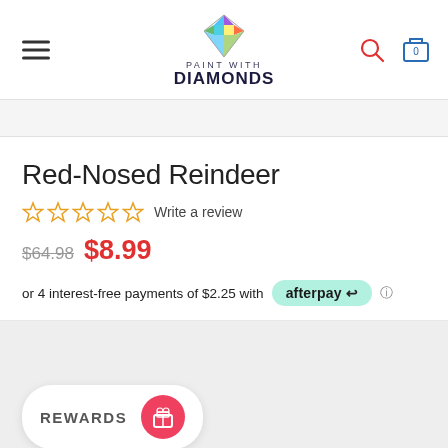Paint With Diamonds - site header with hamburger menu, logo, search and cart icons
Red-Nosed Reindeer
☆☆☆☆☆ Write a review
$64.98  $8.99
or 4 interest-free payments of $2.25 with afterpay
[Figure (logo): Rewards button with gift icon at bottom]